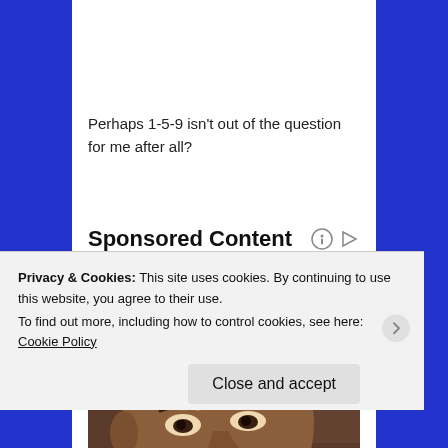Perhaps 1-5-9 isn't out of the question for me after all?
Sponsored Content
[Figure (photo): Close-up portrait of an older Black man looking intently to the side, wearing a light-colored shirt, against a dark background.]
Privacy & Cookies: This site uses cookies. By continuing to use this website, you agree to their use.
To find out more, including how to control cookies, see here: Cookie Policy
Close and accept